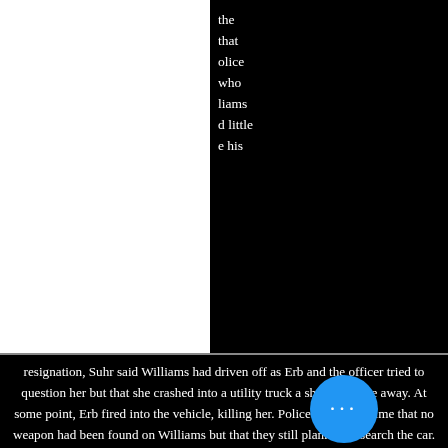[Figure (logo): AAPF - The African American Policy Forum logo with stylized figure icon]
the that olice who liams d little e his resignation, Suhr said Williams had driven off as Erb and the officer tried to question her but that she crashed into a utility truck a short distance away. At some point, Erb fired into the vehicle, killing her. Police said at the time that no weapon had been found on Williams but that they still planned to search the car. They have not said what the results of that search were.
SF Gate
Deresha was shot and killed by Acting Sgt. Vernon Brown. Deputies say that Deresha was a suspect in a robbery, and that upon fleeing she and another man exchanged gunfire with another homeowner. They also claim Deresha had a handgun.